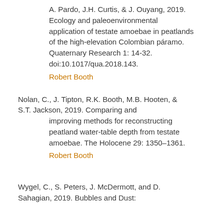A. Pardo, J.H. Curtis, & J. Ouyang, 2019. Ecology and paleoenvironmental application of testate amoebae in peatlands of the high-elevation Colombian páramo. Quaternary Research 1: 14-32. doi:10.1017/qua.2018.143.
Robert Booth
Nolan, C., J. Tipton, R.K. Booth, M.B. Hooten, & S.T. Jackson, 2019. Comparing and improving methods for reconstructing peatland water-table depth from testate amoebae. The Holocene 29: 1350–1361.
Robert Booth
Wygel, C., S. Peters, J. McDermott, and D. Sahagian, 2019. Bubbles and Dust: